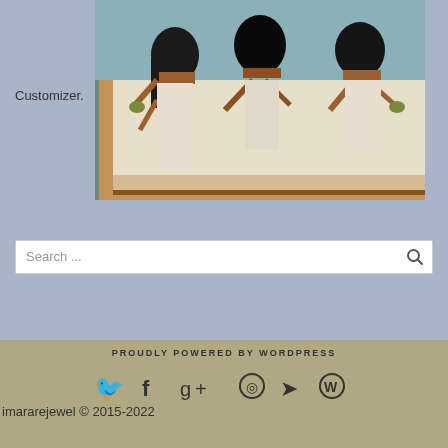Customizer.
[Figure (photo): Ancient Egyptian wall painting showing three figures with dark hair, wearing white garments, with arms outstretched, depicted in the traditional Egyptian art style with terracotta/red and black coloring.]
Search ...
PROUDLY POWERED BY WORDPRESS
Social icons: Twitter, Facebook, Google+, GitHub, location pin, WordPress
imararejewel © 2015-2022